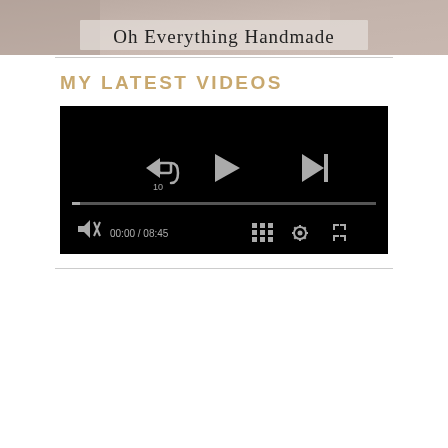[Figure (photo): Banner image showing 'Oh Everything Handmade' text overlay on a photo background]
MY LATEST VIDEOS
[Figure (screenshot): Video player with black background showing playback controls: rewind 10s button, play button, skip-next button, progress bar, mute button, time display '00:00 / 08:45', grid/chapters button, settings gear button, fullscreen button]